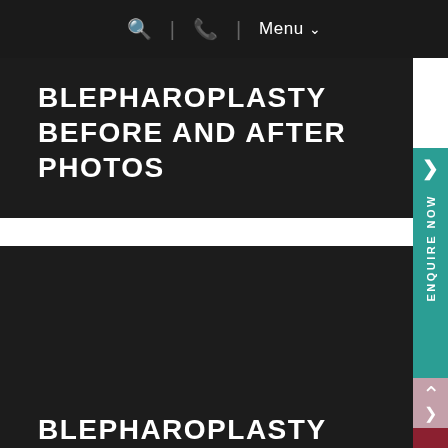🔍 | 📞 | Menu ∨
BLEPHAROPLASTY BEFORE AND AFTER PHOTOS
[Figure (photo): Dark placeholder image area for blepharoplasty before and after photos]
BLEPHAROPLASTY BEFORE